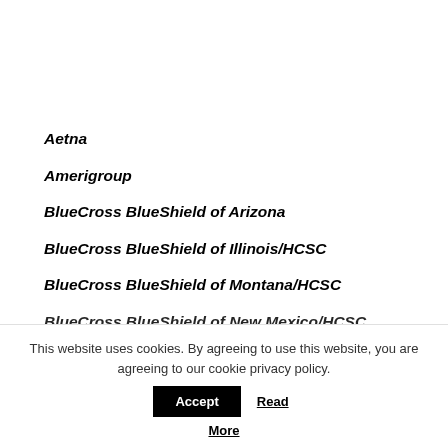Aetna
Amerigroup
BlueCross BlueShield of Arizona
BlueCross BlueShield of Illinois/HCSC
BlueCross BlueShield of Montana/HCSC
BlueCross BlueShield of New Mexico/HCSC
This website uses cookies. By agreeing to use this website, you are agreeing to our cookie privacy policy. Accept Read More